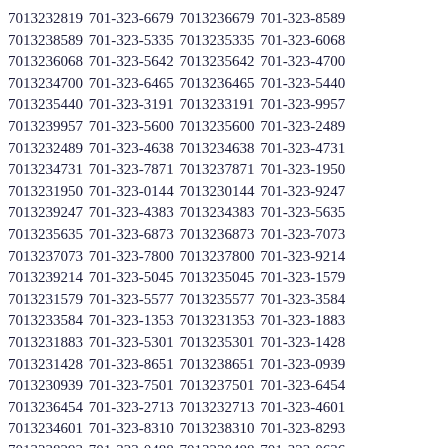7013232819 701-323-6679 7013236679 701-323-8589 7013238589 701-323-5335 7013235335 701-323-6068 7013236068 701-323-5642 7013235642 701-323-4700 7013234700 701-323-6465 7013236465 701-323-5440 7013235440 701-323-3191 7013233191 701-323-9957 7013239957 701-323-5600 7013235600 701-323-2489 7013232489 701-323-4638 7013234638 701-323-4731 7013234731 701-323-7871 7013237871 701-323-1950 7013231950 701-323-0144 7013230144 701-323-9247 7013239247 701-323-4383 7013234383 701-323-5635 7013235635 701-323-6873 7013236873 701-323-7073 7013237073 701-323-7800 7013237800 701-323-9214 7013239214 701-323-5045 7013235045 701-323-1579 7013231579 701-323-5577 7013235577 701-323-3584 7013233584 701-323-1353 7013231353 701-323-1883 7013231883 701-323-5301 7013235301 701-323-1428 7013231428 701-323-8651 7013238651 701-323-0939 7013230939 701-323-7501 7013237501 701-323-6454 7013236454 701-323-2713 7013232713 701-323-4601 7013234601 701-323-8310 7013238310 701-323-8293 7013238293 701-323-0488 7013230488 701-323-0636 7013230636 701-323-5414 7013235414 701-323-0776 7013230776 701-323-8746 7013238746 701-323-7063 7013237063 701-323-1020 7013231020 701-323-6268 7013236268 701-323-0598 7013230598 701-323-8598